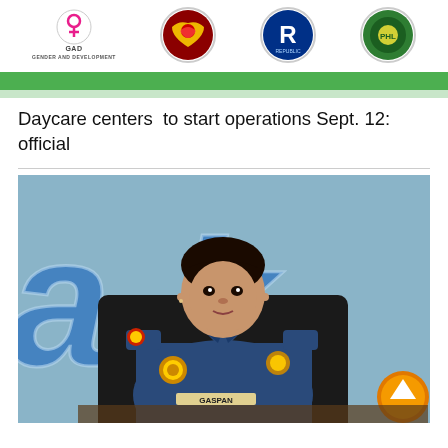[Figure (illustration): Banner with GAD (Gender and Development) logo on left, two circular organizational logos in center, and one circular logo on right, with a green bar below]
Daycare centers to start operations Sept. 12: official
[Figure (photo): Female police officer named GASPAN in uniform sitting at a desk with 'ak' letters visible in the blue background behind her, with an orange up-arrow button in the lower right corner]